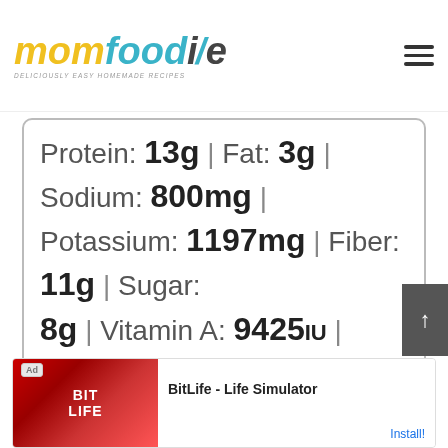mom foodie - DELICIOUSLY EASY HOMEMADE RECIPES
Protein: 13g | Fat: 3g | Sodium: 800mg | Potassium: 1197mg | Fiber: 11g | Sugar: 8g | Vitamin A: 9425IU | Vitamin C: 30.2mg | Calcium: 121mg | Iron: 4.7mg
[Figure (other): Advertisement banner for BitLife - Life Simulator app with Install button]